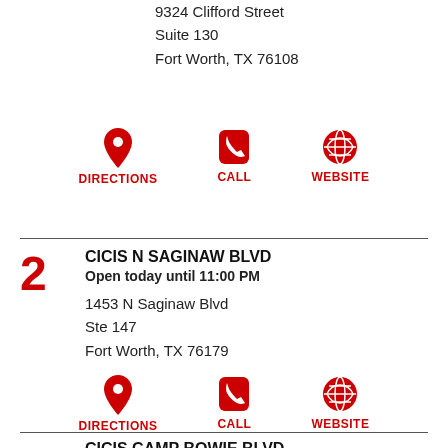9324 Clifford Street
Suite 130
Fort Worth, TX 76108
DIRECTIONS   CALL   WEBSITE
2  CICIS N SAGINAW BLVD
Open today until 11:00 PM
1453 N Saginaw Blvd
Ste 147
Fort Worth, TX 76179
DIRECTIONS   CALL   WEBSITE
3  CICIS CAMP BOWIE BLVD
Open today until 11:00 PM